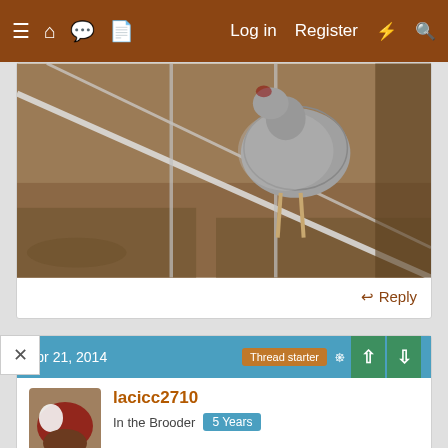Navigation bar with menu, home, chat, document icons; Log in, Register, lightning, search
[Figure (photo): Close-up photo of a chicken behind wire mesh fencing, standing on bare dirt/soil ground, viewed from outside the pen]
Reply
Apr 21, 2014 · Thread starter
lacicc2710
In the Brooder 5 Years
Ok and thanks! I was getting worried
Reply